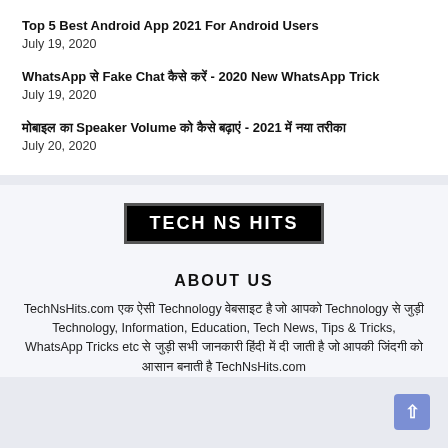Top 5 Best Android App 2021 For Android Users
July 19, 2020
WhatsApp से Fake Chat कैसे करें - 2020 New WhatsApp Trick
July 19, 2020
मोबाइल का Speaker Volume को कैसे बढ़ाएं - 2021 में नया तरीका
July 20, 2020
[Figure (logo): TECH NS HITS logo in white text on black background]
ABOUT US
TechNsHits.com एक ऐसी Technology वेबसाइट है जो आपको Technology से जुड़ी Technology, Information, Education, Tech News, Tips & Tricks, WhatsApp Tricks etc से जुड़ी सभी जानकारी हिंदी में दी जाती है जो आपकी जिंदगी को आसान बनाती है TechNsHits.com